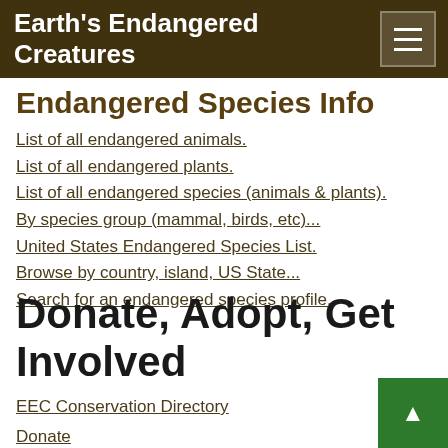Earth's Endangered Creatures
Endangered Species Info
List of all endangered animals.
List of all endangered plants.
List of all endangered species (animals & plants).
By species group (mammal, birds, etc)...
United States Endangered Species List.
Browse by country, island, US State...
Search for an endangered species profile.
Donate, Adopt, Get Involved
EEC Conservation Directory
Donate
Mailing List
Would you like to receive a notice and link when the